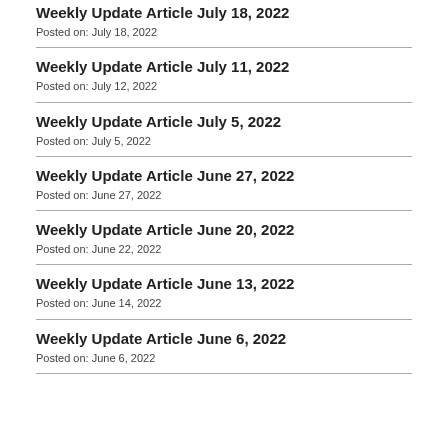Weekly Update Article July 18, 2022
Posted on: July 18, 2022
Weekly Update Article July 11, 2022
Posted on: July 12, 2022
Weekly Update Article July 5, 2022
Posted on: July 5, 2022
Weekly Update Article June 27, 2022
Posted on: June 27, 2022
Weekly Update Article June 20, 2022
Posted on: June 22, 2022
Weekly Update Article June 13, 2022
Posted on: June 14, 2022
Weekly Update Article June 6, 2022
Posted on: June 6, 2022